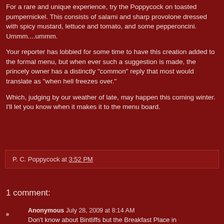For a rare and unique experience, try the Poppycock on toasted pumpernickel. This consists of salami and sharp provolone dressed with spicy mustard, lettuce and tomato, and some pepperoncini. Ummm....ummm.
Your reporter has lobbied for some time to have this creation added to the formal menu, but when ever such a suggestion is made, the princely owner has a distinctly "common" reply that most would translate as "when hell freezes over."
Which, judging by our weather of late, may happen this coming winter. I'll let you know when it makes it to the menu board.
P. C. Poppycock at 3:52 PM
1 comment:
Anonymous July 28, 2009 at 8:14 AM
Don't know about Bintliffs but the Breakfast Place in